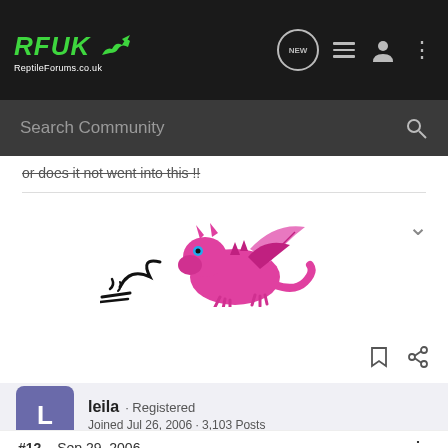RFUK Reptile Forums.co.uk
Search Community
or does it not went into this !!
[Figure (illustration): Pixel art of a pink/magenta dragon with horns and wings, rearing up. Black stylized smoke or tail curls to the left.]
leila · Registered
Joined Jul 26, 2006 · 3,103 Posts
#12 · Sep 29, 2006